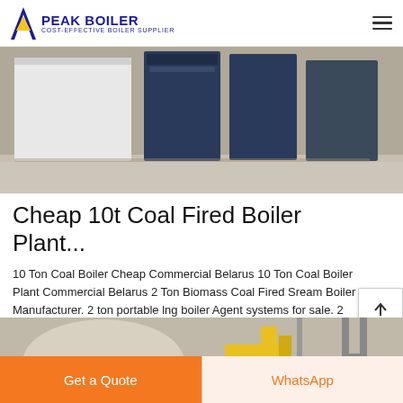PEAK BOILER COST-EFFECTIVE BOILER SUPPLIER
[Figure (photo): Industrial boiler units installed in a building, white and dark blue panels]
Cheap 10t Coal Fired Boiler Plant...
10 Ton Coal Boiler Cheap Commercial Belarus 10 Ton Coal Boiler Plant Commercial Belarus 2 Ton Biomass Coal Fired Sream Boiler Manufacturer. 2 ton portable lng boiler Agent systems for sale. 2
[Figure (photo): Industrial boiler system with large cylindrical tank and yellow gas piping]
Get a Quote
WhatsApp